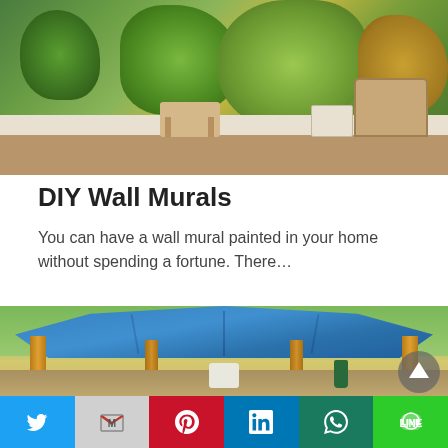[Figure (photo): Indoor room with a lush green plant wall mural in the background, wooden furniture, and a woven basket]
DIY Wall Murals
You can have a wall mural painted in your home without spending a fortune. There…
[Figure (photo): Outdoor wooden gazebo with a blue metal roof, wooden posts, lanterns, and outdoor furniture in a garden setting]
Twitter | Gmail | Pinterest | LinkedIn | WhatsApp | LINE